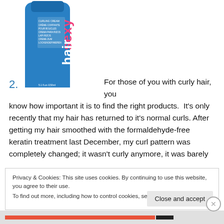[Figure (photo): Blue tube of Sexy Hair Curling Cream product, shown at the top left of the page]
2. For those of you with curly hair, you know how important it is to find the right products. It's only recently that my hair has returned to it's normal curls. After getting my hair smoothed with the formaldehyde-free keratin treatment last December, my curl pattern was completely changed; it wasn't curly anymore, it was barely
Privacy & Cookies: This site uses cookies. By continuing to use this website, you agree to their use.
To find out more, including how to control cookies, see here: Cookie Policy
Close and accept